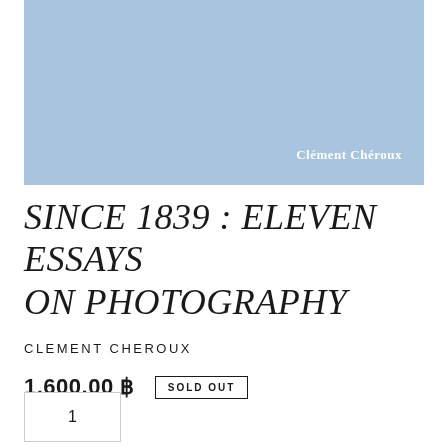[Figure (illustration): Light blue book cover with author name 'Clément Chéroux' in white text at lower right]
SINCE 1839 : ELEVEN ESSAYS ON PHOTOGRAPHY
CLEMENT CHEROUX
1,600.00 ฿   SOLD OUT
1